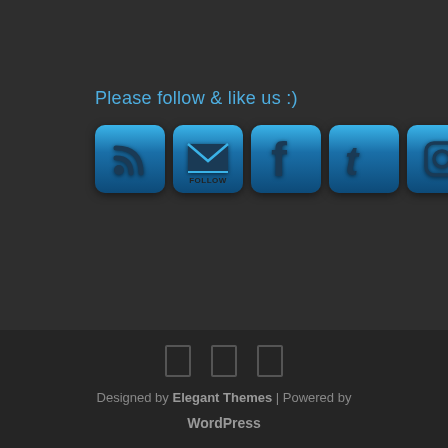Please follow & like us :)
[Figure (infographic): Five blue rounded square social media icon buttons: RSS feed, Email/Follow, Facebook (f), Twitter (t), Instagram (camera icon)]
[Figure (infographic): Three small gray rectangular icon boxes in the footer area]
Designed by Elegant Themes | Powered by WordPress